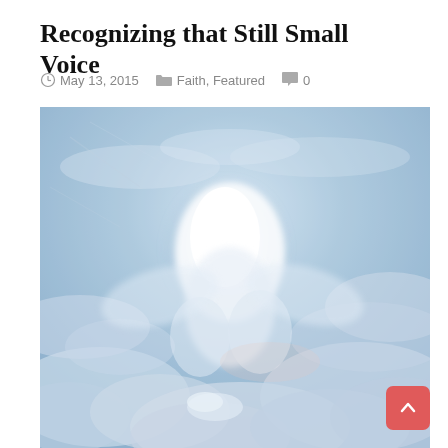Recognizing that Still Small Voice
May 13, 2015   Faith, Featured   0
[Figure (photo): A dreamy, ethereal image of clouds in shades of blue and white, with a luminous white glow in the center suggesting a heavenly or spiritual scene, possibly a figure or angelic form visible in the cloud formations.]